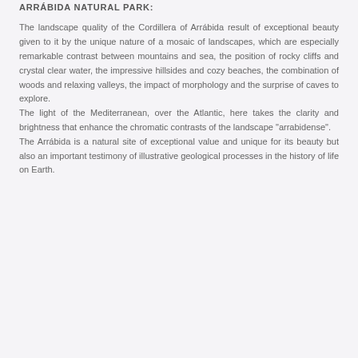ARRÁBIDA NATURAL PARK:
The landscape quality of the Cordillera of Arrábida result of exceptional beauty given to it by the unique nature of a mosaic of landscapes, which are especially remarkable contrast between mountains and sea, the position of rocky cliffs and crystal clear water, the impressive hillsides and cozy beaches, the combination of woods and relaxing valleys, the impact of morphology and the surprise of caves to explore. The light of the Mediterranean, over the Atlantic, here takes the clarity and brightness that enhance the chromatic contrasts of the landscape "arrabidense". The Arrábida is a natural site of exceptional value and unique for its beauty but also an important testimony of illustrative geological processes in the history of life on Earth.